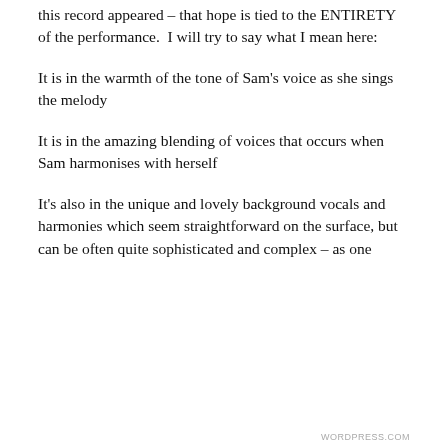this record appeared – that hope is tied to the ENTIRETY of the performance.  I will try to say what I mean here:
It is in the warmth of the tone of Sam's voice as she sings the melody
It is in the amazing blending of voices that occurs when Sam harmonises with herself
It's also in the unique and lovely background vocals and harmonies which seem straightforward on the surface, but can be often quite sophisticated and complex – as one
Privacy & Cookies: This site uses cookies. By continuing to use this website, you agree to their use.
To find out more, including how to control cookies, see here: Cookie Policy
Close and accept